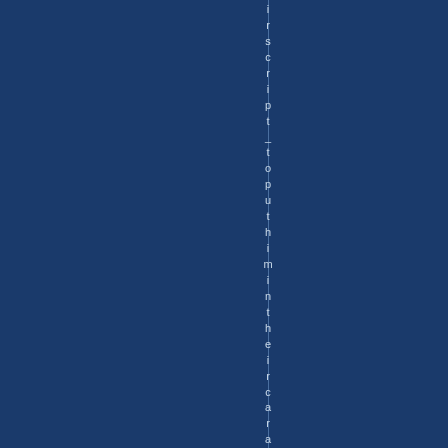irs cri pt _ to put hi m in th ei r ca r an d